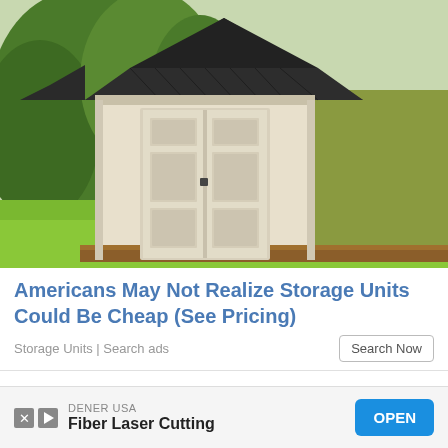[Figure (photo): A barn-style storage shed with cream/white siding, dark shingle roof, double doors, and olive green side wall, sitting on a wood base on green grass, surrounded by trees in background.]
Americans May Not Realize Storage Units Could Be Cheap (See Pricing)
Storage Units | Search ads
[Figure (screenshot): Close X button (×) on the right side below the main ad card.]
[Figure (screenshot): Bottom banner ad for DENER USA - Fiber Laser Cutting with an OPEN button and X/play icons.]